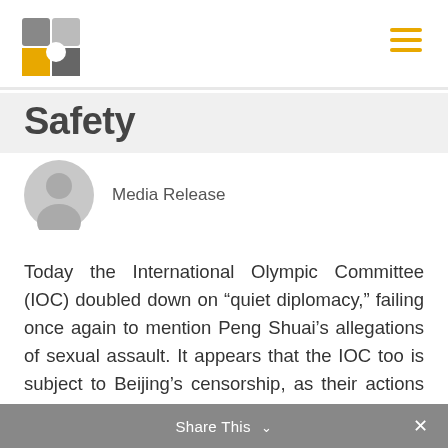[Figure (logo): Abstract geometric logo with grey and yellow/orange shapes]
Safety
Media Release
Today the International Olympic Committee (IOC) doubled down on “quiet diplomacy,” failing once again to mention Peng Shuai’s allegations of sexual assault. It appears that the IOC too is subject to Beijing’s censorship, as their actions are clearly meant to appease the Chinese Authorities rather than ensure Peng’s safety.
Share This ∨